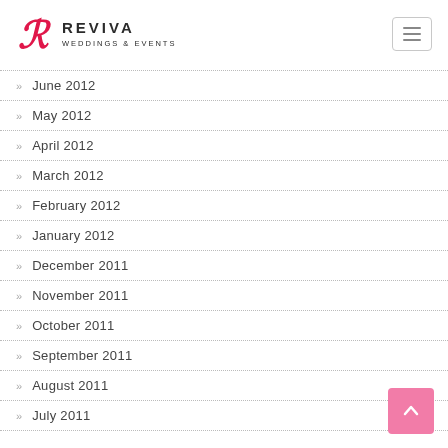REVIVA WEDDINGS & EVENTS
June 2012
May 2012
April 2012
March 2012
February 2012
January 2012
December 2011
November 2011
October 2011
September 2011
August 2011
July 2011